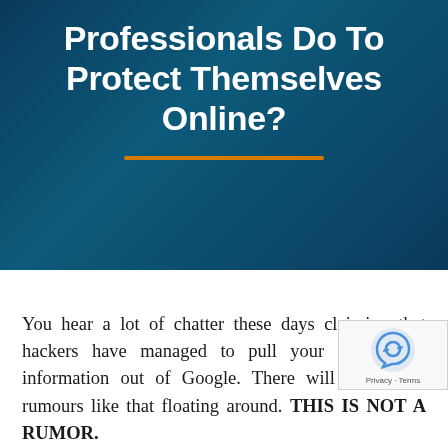Professionals Do To Protect Themselves Online?
You hear a lot of chatter these days claiming that hackers have managed to pull your confidential information out of Google. There will always be rumours like that floating around. THIS IS NOT A RUMOR.